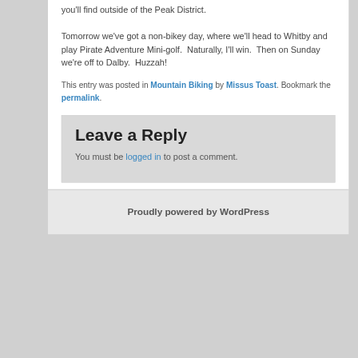you'll find outside of the Peak District.
Tomorrow we've got a non-bikey day, where we'll head to Whitby and play Pirate Adventure Mini-golf.  Naturally, I'll win.  Then on Sunday we're off to Dalby.  Huzzah!
This entry was posted in Mountain Biking by Missus Toast. Bookmark the permalink.
Leave a Reply
You must be logged in to post a comment.
Proudly powered by WordPress